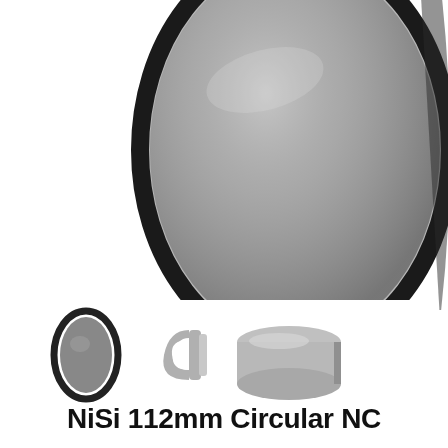[Figure (photo): Large circular NiSi 112mm NC camera lens filter shown in perspective/side view, with black metal frame and dark gray glass, labeled NiSi NC ND8 3 Stops 112mm on the rim. White background.]
[Figure (photo): Three accessory items shown left to right: a small circular filter (front view), a gray C-shaped adapter/holder, and a gray cylindrical lens cap. All on white background.]
NiSi 112mm Circular NC